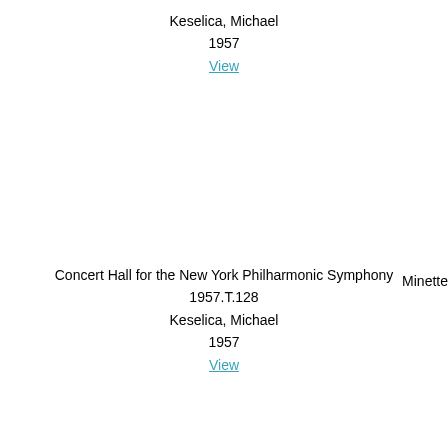Keselica, Michael
1957
View
Concert Hall for the New York Philharmonic Symphony
1957.T.128
Keselica, Michael
1957
View
Minette